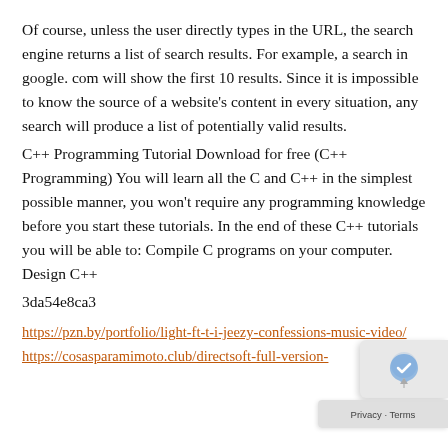Of course, unless the user directly types in the URL, the search engine returns a list of search results. For example, a search in google. com will show the first 10 results. Since it is impossible to know the source of a website's content in every situation, any search will produce a list of potentially valid results.
C++ Programming Tutorial Download for free (C++ Programming) You will learn all the C and C++ in the simplest possible manner, you won't require any programming knowledge before you start these tutorials. In the end of these C++ tutorials you will be able to: Compile C programs on your computer. Design C++
3da54e8ca3
https://pzn.by/portfolio/light-ft-t-i-jeezy-confessions-music-video/
https://cosasparamimoto.club/directsoft-full-version-